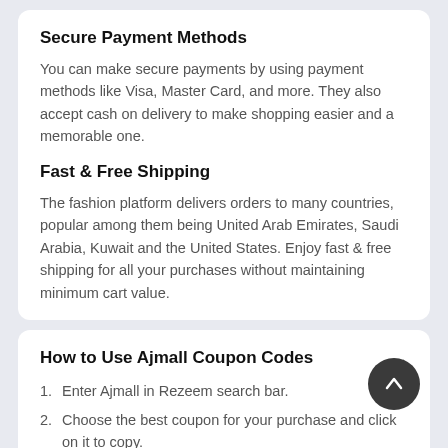Secure Payment Methods
You can make secure payments by using payment methods like Visa, Master Card, and more. They also accept cash on delivery to make shopping easier and a memorable one.
Fast & Free Shipping
The fashion platform delivers orders to many countries, popular among them being United Arab Emirates, Saudi Arabia, Kuwait and the United States. Enjoy fast & free shipping for all your purchases without maintaining minimum cart value.
How to Use Ajmall Coupon Codes
Enter Ajmall in Rezeem search bar.
Choose the best coupon for your purchase and click on it to copy.
You will be redirected to Ajmall store and start adding